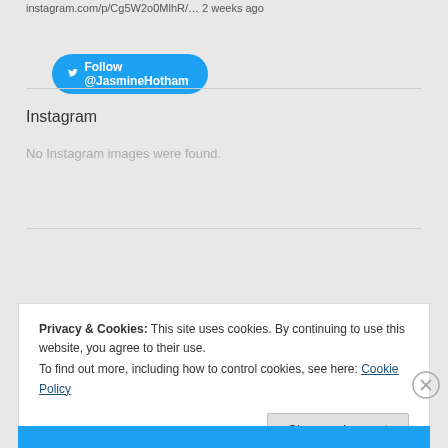instagram.com/p/Cg5W2o0MlhR/… 2 weeks ago
[Figure (screenshot): Blue Twitter Follow button with bird icon reading Follow @JasmineHotham]
Instagram
No Instagram images were found.
[Figure (screenshot): Blue WordPress Follow button reading Follow Hot Ham Design Blog]
Privacy & Cookies: This site uses cookies. By continuing to use this website, you agree to their use.
To find out more, including how to control cookies, see here: Cookie Policy
Close and accept